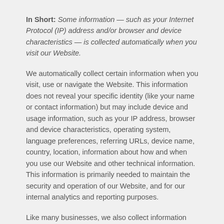In Short: Some information — such as your Internet Protocol (IP) address and/or browser and device characteristics — is collected automatically when you visit our Website.
We automatically collect certain information when you visit, use or navigate the Website. This information does not reveal your specific identity (like your name or contact information) but may include device and usage information, such as your IP address, browser and device characteristics, operating system, language preferences, referring URLs, device name, country, location, information about how and when you use our Website and other technical information. This information is primarily needed to maintain the security and operation of our Website, and for our internal analytics and reporting purposes.
Like many businesses, we also collect information through cookies and similar technologies.
The information we collect includes: